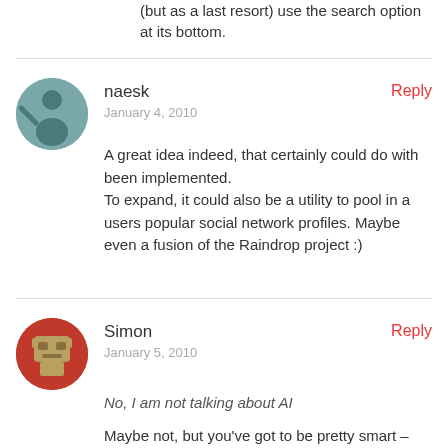(but as a last resort) use the search option at its bottom.
naesk
January 4, 2010
Reply
A great idea indeed, that certainly could do with been implemented.
To expand, it could also be a utility to pool in a users popular social network profiles. Maybe even a fusion of the Raindrop project :)
Simon
January 5, 2010
Reply
No, I am not talking about AI
Maybe not, but you've got to be pretty smart – one of the most annoying things software can do is to try to be helpful, and not get it 100% right. The most extreme example of that was the stupid Office paperclip, but it's true of any program